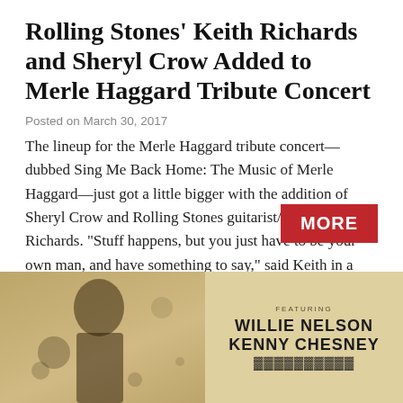Rolling Stones' Keith Richards and Sheryl Crow Added to Merle Haggard Tribute Concert
Posted on March 30, 2017
The lineup for the Merle Haggard tribute concert—dubbed Sing Me Back Home: The Music of Merle Haggard—just got a little bigger with the addition of Sheryl Crow and Rolling Stones guitarist/vocalist Keith Richards. “Stuff happens, but you just have to be your own man, and have something to say,” said Keith in a statement. “Sometimes……
[Figure (other): Concert poster image for Sing Me Back Home: The Music of Merle Haggard tribute concert, featuring text 'FEATURING WILLIE NELSON KENNY CHESNEY' and partially visible artist names below, with a stylized figure on the left side.]